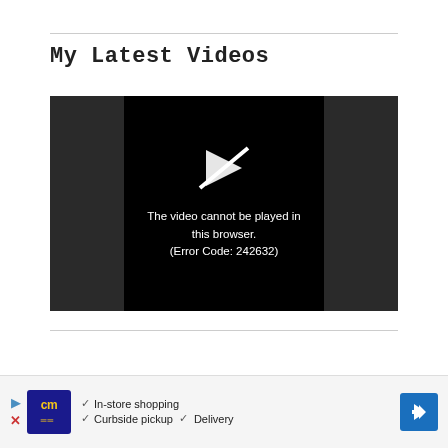My Latest Videos
[Figure (screenshot): Video player showing error message on black background: 'The video cannot be played in this browser. (Error Code: 242632)']
[Figure (other): Advertisement banner with cm logo, checkmarks for In-store shopping, Curbside pickup, Delivery, and a blue navigation icon]